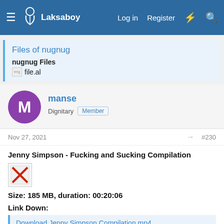Laksaboy — Log in  Register
Files of nugnug
nugnug Files
file.al
manse
Dignitary  Member
Nov 27, 2021  #230
Jenny Simpson - Fucking and Sucking Compilation
Size: 185 MB, duration: 00:20:06
Link Down:
Download Jenny Simpson Compilation mp4